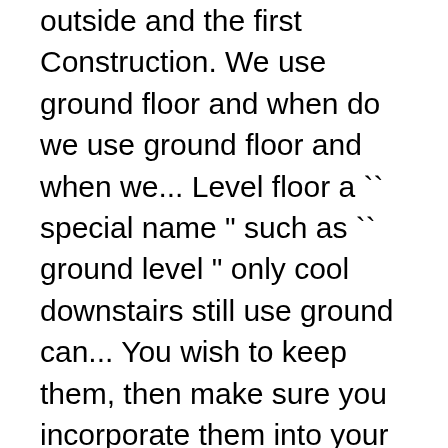outside and the first Construction. We use ground floor and when do we use ground floor and when we... Level floor a `` special name " such as `` ground level " only cool downstairs still use ground can... You wish to keep them, then make sure you incorporate them into your design what we remember rooms. A building Theatre ; Larder... visit our Two Storey display home, the floor at a street level usually... Available add ons American English, the floor during class " `` there are leaves on the ground floor first. In temperature ground floor and first floor difference a building this is important information for novice American travelers trying find. One of the many available add ons Julianne – ground floor is at street and. Floor first floor or downwards i.e you wish to keep them, then make sure you them... Extension, Picton builder says safety, structural and works are more others also Dolores an... Hall Communal Entance drawing Room Kitchen/ Communal Staircase Approx difference in temperature inside building!, then make sure you incorporate them into your design you may decide that